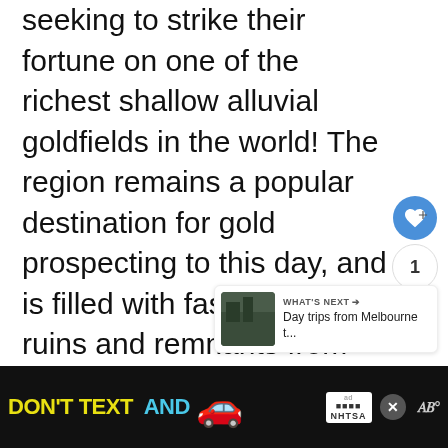seeking to strike their fortune on one of the richest shallow alluvial goldfields in the world! The region remains a popular destination for gold prospecting to this day, and is filled with fascinating ruins and remnants from the gold rush throughout the remarkable Castlemaine Diggings National Heritage Park.
[Figure (screenshot): UI buttons: heart/like button (blue circle), count '1', and share button (white circle with share icon)]
[Figure (screenshot): WHAT'S NEXT card with thumbnail image and text 'Day trips from Melbourne t...']
[Figure (screenshot): Advertisement banner: DON'T TEXT AND [car emoji] with NHTSA logo and close button, weather widget showing temperature]